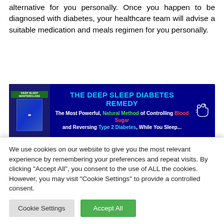alternative for you personally. Once you happen to be diagnosed with diabetes, your healthcare team will advise a suitable medication and meals regimen for you personally.
[Figure (infographic): Advertisement banner for 'The Deep Sleep Diabetes Remedy' — dark blue background, book cover on left, title text in cyan, tagline describing natural method of controlling blood sugar and reversing Type 2 Diabetes while sleeping, with hand/cursor icon on right.]
Treating Diabetes Naturally
In the event you are searching for approaches to handle
We use cookies on our website to give you the most relevant experience by remembering your preferences and repeat visits. By clicking "Accept All", you consent to the use of ALL the cookies. However, you may visit "Cookie Settings" to provide a controlled consent.